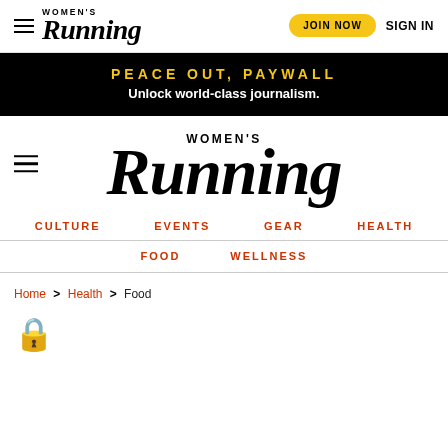Women's Running — JOIN NOW  SIGN IN
PEACE OUT, PAYWALL  Unlock world-class journalism.
[Figure (logo): Women's Running magazine logo, large centered version]
CULTURE  EVENTS  GEAR  HEALTH
FOOD  WELLNESS
Home > Health > Food
[Figure (illustration): Golden padlock emoji icon]